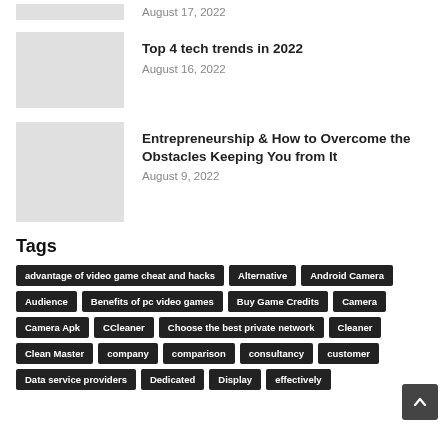August 17, 2022
[Figure (photo): Thumbnail image placeholder for article about tech trends]
Top 4 tech trends in 2022
August 16, 2022
[Figure (photo): Thumbnail image placeholder for entrepreneurship article]
Entrepreneurship & How to Overcome the Obstacles Keeping You from It
August 9, 2022
Tags
advantage of video game cheat and hacks
Alternative
Android Camera
Audience
Benefits of pc video games
Buy Game Credits
Camera
Camera Apk
CCleaner
Choose the best private network
Cleaner
Clean Master
company
comparison
consultancy
customer
Data service providers
Dedicated
Display
effectively